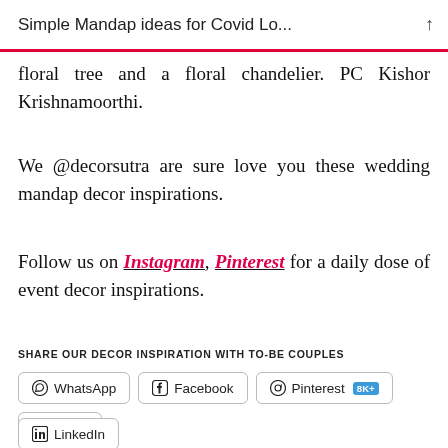Simple Mandap ideas for Covid Lo...
floral tree and a floral chandelier. PC Kishor Krishnamoorthi.
We @decorsutra are sure love you these wedding mandap decor inspirations.
Follow us on Instagram, Pinterest for a daily dose of event decor inspirations.
SHARE OUR DECOR INSPIRATION WITH TO-BE COUPLES
WhatsApp
Facebook
Pinterest 8K+
Email
LinkedIn